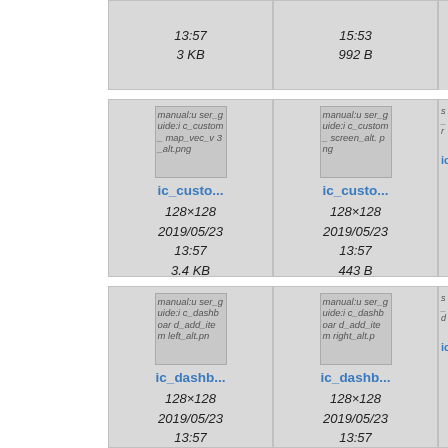[Figure (screenshot): File browser grid showing image thumbnails with metadata. Top partial row shows two cards with timestamps 2019/05/23 13:57 3 KB and 2017/10/20 15:53 992 B. Middle row: ic_custo... card (manual:user_guide:ic_custom_map_vec_v3_alt.png, 128x128, 2019/05/23 13:57, 3.4 KB) and ic_custo... card (manual:user_guide:ic_custom_screen_alt.png, 128x128, 2019/05/23 13:57, 443 B). Bottom row: ic_dashb... card (manual:user_guide:ic_dashboard_add_item_left_alt.png, 128x128, 2019/05/23 13:57) and ic_dashb... card (manual:user_guide:ic_dashboard_add_item_right_alt.png, 128x128, 2019/05/23 13:57).]